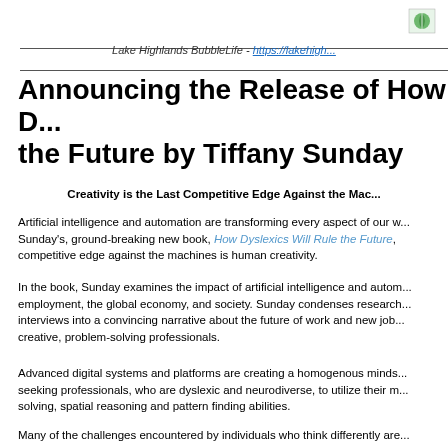[Figure (logo): Small green leaf/nature logo icon in top right corner]
Lake Highlands BubbleLife - https://lakehigh...
Announcing the Release of How D... the Future by Tiffany Sunday
Creativity is the Last Competitive Edge Against the Mac...
Artificial intelligence and automation are transforming every aspect of our w... Sunday's, ground-breaking new book, How Dyslexics Will Rule the Future,... competitive edge against the machines is human creativity.
In the book, Sunday examines the impact of artificial intelligence and autom... employment, the global economy, and society. Sunday condenses research... interviews into a convincing narrative about the future of work and new job... creative, problem-solving professionals.
Advanced digital systems and platforms are creating a homogenous minds... seeking professionals, who are dyslexic and neurodiverse, to utilize their m... solving, spatial reasoning and pattern finding abilities.
Many of the challenges encountered by individuals who think differently are...